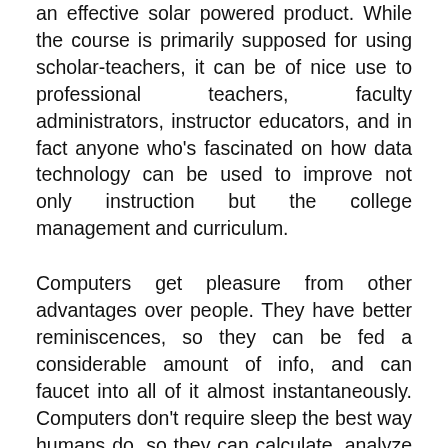an effective solar powered product. While the course is primarily supposed for using scholar-teachers, it can be of nice use to professional teachers, faculty administrators, instructor educators, and in fact anyone who's fascinated on how data technology can be used to improve not only instruction but the college management and curriculum.
Computers get pleasure from other advantages over people. They have better reminiscences, so they can be fed a considerable amount of info, and can faucet into all of it almost instantaneously. Computers don't require sleep the best way humans do, so they can calculate, analyze and perform duties tirelessly and round the clock. Notwithstanding bugs or susceptibility to energy blackouts, computers are merely extra accurate